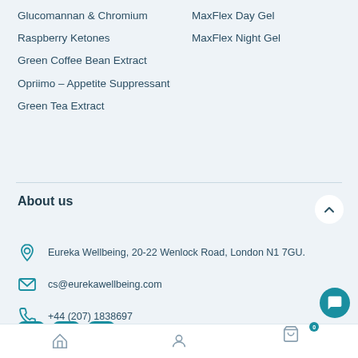Glucomannan & Chromium
MaxFlex Day Gel
Raspberry Ketones
MaxFlex Night Gel
Green Coffee Bean Extract
Opriimo – Appetite Suppressant
Green Tea Extract
About us
Eureka Wellbeing, 20-22 Wenlock Road, London N1 7GU.
cs@eurekawellbeing.com
+44 (207) 1838697
Home | Account | Cart (0)